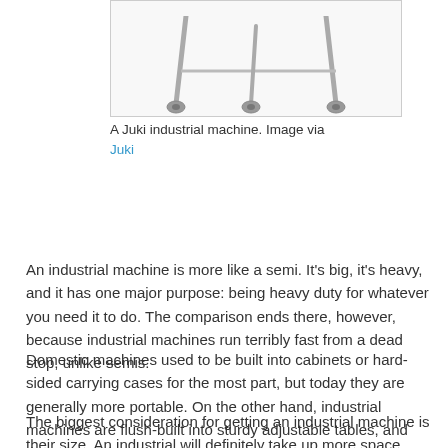[Figure (photo): A Juki industrial sewing machine on a metal stand with casters, photographed from above at an angle. The machine appears silver/metallic against a white background.]
A Juki industrial machine. Image via Juki
An industrial machine is more like a semi. It's big, it's heavy, and it has one major purpose: being heavy duty for whatever you need it to do. The comparison ends there, however, because industrial machines run terribly fast from a dead stop, unlike semis.
Domestic machines used to be built into cabinets or hard-sided carrying cases for the most part, but today they are generally more portable. On the other hand, industrial machines are flush-built into sturdy adjustable tables, and they always have been.
The biggest consideration for getting an industrial machine is their size. An industrial will definitely take up more space than the average domestic, and it is much heavier. I've seen some machines with tables on casters, and some that are...